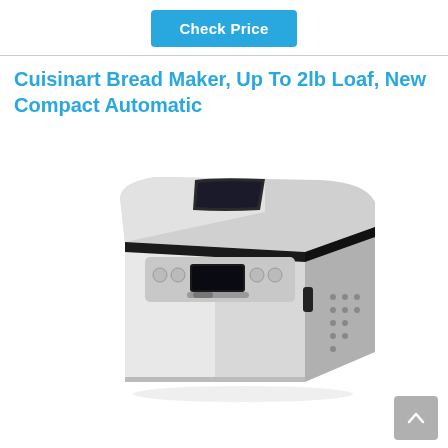Check Price
Cuisinart Bread Maker, Up To 2lb Loaf, New Compact Automatic
[Figure (photo): Cuisinart compact automatic bread maker machine, stainless steel finish, shown from an angle revealing the top lid with viewing window and the front control panel with digital display, buttons, and ventilation holes on the right side.]